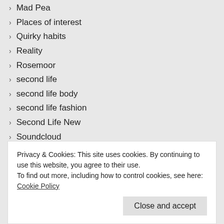Mad Pea
Places of interest
Quirky habits
Reality
Rosemoor
second life
second life body
second life fashion
Second Life New
Soundcloud
The White Armory
Uncategorized
virtual life
virtual reality
Virtual Worlds
Privacy & Cookies: This site uses cookies. By continuing to use this website, you agree to their use.
To find out more, including how to control cookies, see here: Cookie Policy
Close and accept